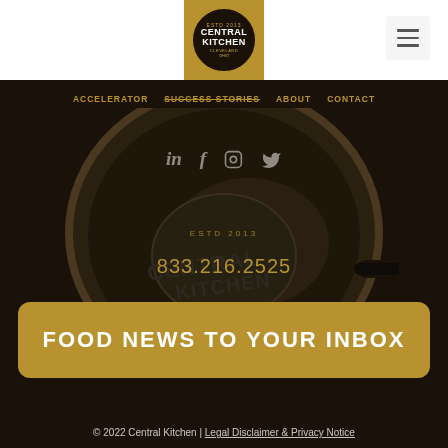[Figure (logo): Central Kitchen Cleveland Ohio logo in circle on gold background]
[Figure (other): Hamburger menu icon (three horizontal lines) in light grey box]
ACCELERATOR  SUCCESS STORIES  ABOUT  CONTACT
[Figure (photo): Dark skillet/frying pan with Central Kitchen logo and ESTD 2013 text in center, with social media icons (LinkedIn, Facebook, Instagram, Twitter) overlaid above]
833.216.2525
FOOD NEWS TO YOUR INBOX
© 2022 Central Kitchen | Legal Disclaimer & Privacy Notice